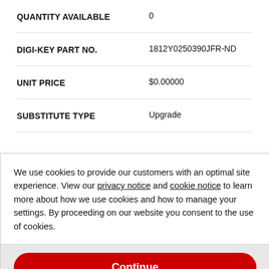| Label | Value |
| --- | --- |
| QUANTITY AVAILABLE | 0 |
| DIGI-KEY PART NO. | 1812Y0250390JFR-ND |
| UNIT PRICE | $0.00000 |
| SUBSTITUTE TYPE | Upgrade |
We use cookies to provide our customers with an optimal site experience. View our privacy notice and cookie notice to learn more about how we use cookies and how to manage your settings. By proceeding on our website you consent to the use of cookies.
Continue
Exit
Privacy Notice